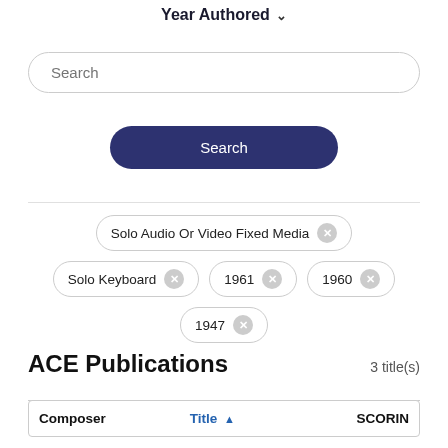Year Authored ▾
Search
Search
Solo Audio Or Video Fixed Media ✕
Solo Keyboard ✕
1961 ✕
1960 ✕
1947 ✕
ACE Publications
3 title(s)
| Composer | Title ▲ | SCORIN |
| --- | --- | --- |